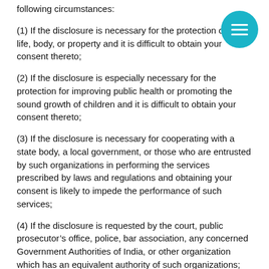following circumstances:
(1) If the disclosure is necessary for the protection of your life, body, or property and it is difficult to obtain your consent thereto;
(2) If the disclosure is especially necessary for the protection for improving public health or promoting the sound growth of children and it is difficult to obtain your consent thereto;
(3) If the disclosure is necessary for cooperating with a state body, a local government, or those who are entrusted by such organizations in performing the services prescribed by laws and regulations and obtaining your consent is likely to impede the performance of such services;
(4) If the disclosure is requested by the court, public prosecutor’s office, police, bar association, any concerned Government Authorities of India, or other organization which has an equivalent authority of such organizations;